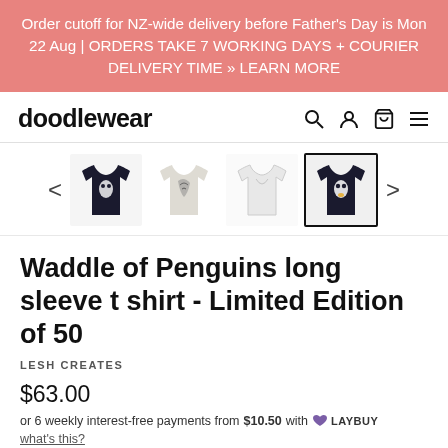Order cutoff for NZ-wide delivery before Father's Day is Mon 22 Aug | ORDERS TAKE 7 WORKING DAYS + COURIER DELIVERY TIME » LEARN MORE
[Figure (logo): doodlewear brand logo text with search, account, cart, and menu icons]
[Figure (photo): Row of four product thumbnail images of a penguin long sleeve t-shirt (black black/white, white, dark navy), with left and right navigation arrows. The fourth thumbnail is selected with a border.]
Waddle of Penguins long sleeve t shirt - Limited Edition of 50
LESH CREATES
$63.00
or 6 weekly interest-free payments from $10.50 with LAYBUY what's this?
Garment sizing details for HERE